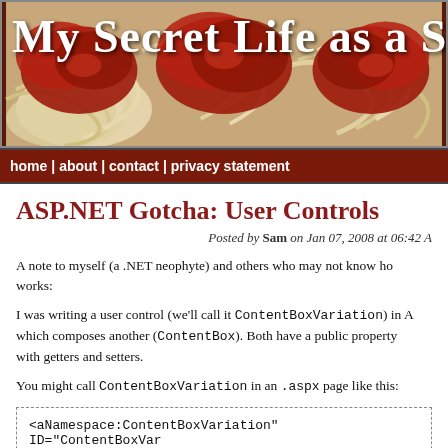[Figure (screenshot): Blog header image showing spaghetti with tomato sauce and title text 'My Secret Life as a Sp']
home | about | contact | privacy statement
ASP.NET Gotcha: User Controls
Posted by Sam on Jan 07, 2008 at 06:42 A
A note to myself (a .NET neophyte) and others who may not know how works:
I was writing a user control (we'll call it ContentBoxVariation) in A which composes another (ContentBox). Both have a public property with getters and setters.
You might call ContentBoxVariation in an .aspx page like this:
<aNamespace:ContentBoxVariation"  ID="ContentBoxVar